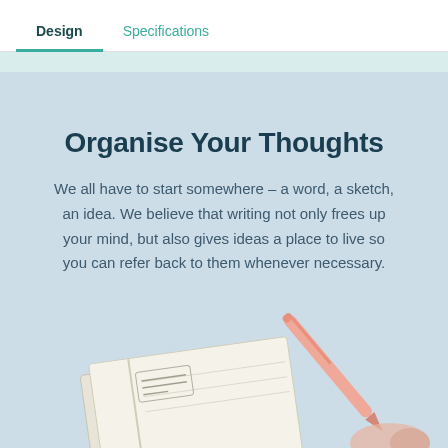Design  Specifications
Organise Your Thoughts
We all have to start somewhere – a word, a sketch, an idea. We believe that writing not only frees up your mind, but also gives ideas a place to live so you can refer back to them whenever necessary.
[Figure (photo): A notebook with a pink pen resting on it, partially visible at the bottom of the image, set against a light blue background.]